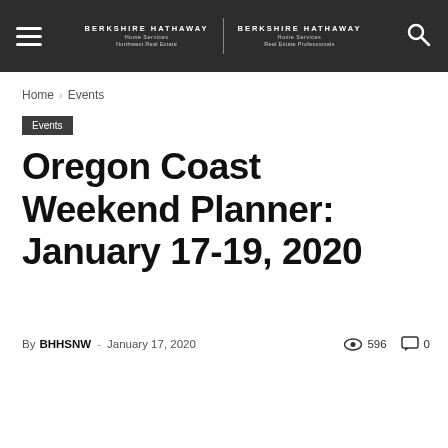BERKSHIRE HATHAWAY Home Services Northwest Real Estate | BERKSHIRE HATHAWAY Home Services Real Estate Professionals
Home › Events
Events
Oregon Coast Weekend Planner: January 17-19, 2020
By BHHSNW - January 17, 2020  596  0